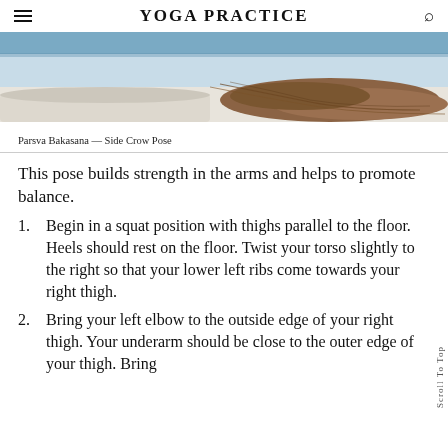YOGA PRACTICE
[Figure (photo): Cropped photo of a person lying on a blue yoga mat on a white floor, with long hair visible, viewed from above at close range.]
Parsva Bakasana — Side Crow Pose
This pose builds strength in the arms and helps to promote balance.
Begin in a squat position with thighs parallel to the floor. Heels should rest on the floor. Twist your torso slightly to the right so that your lower left ribs come towards your right thigh.
Bring your left elbow to the outside edge of your right thigh. Your underarm should be close to the outer edge of your thigh. Bring